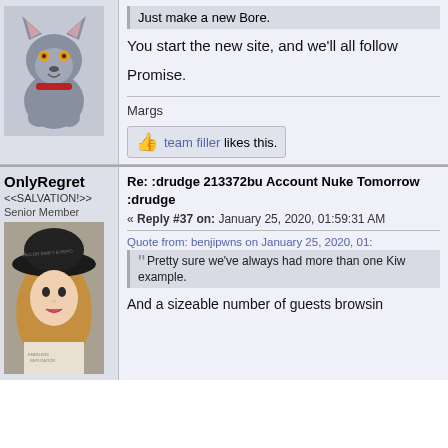[Figure (illustration): Cartoon wolf avatar with grey fur, orange eyes, and red collar]
Just make a new Bore.
You start the new site, and we'll all follow
Promise.
Margs
👍 team filler likes this.
OnlyRegret
<<SALVATION!>>
Senior Member
[Figure (illustration): Anime-style illustration of a blonde woman wearing a black beret hat]
Re: :drudge 213372bu Account Nuke Tomorrow :drudge
« Reply #37 on: January 25, 2020, 01:59:31 AM
Quote from: benjipwns on January 25, 2020, 01:
Pretty sure we've always had more than one Kiw example.
And a sizeable number of guests browsin